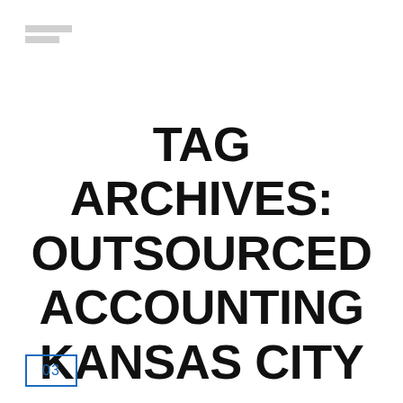TAG ARCHIVES: OUTSOURCED ACCOUNTING KANSAS CITY
03